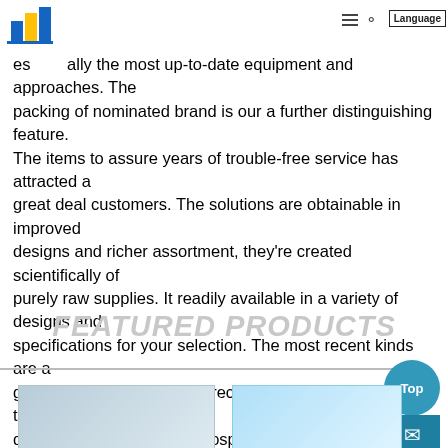San Francisco — navigation bar with logo, hamburger menu, search icon, Language button
,San Francisco ,We take measure at any expense to achieve es ally the most up-to-date equipment and approaches. The packing of nominated brand is our a further distinguishing feature. The items to assure years of trouble-free service has attracted a great deal customers. The solutions are obtainable in improved designs and richer assortment, they're created scientifically of purely raw supplies. It readily available in a variety of designs and specifications for your selection. The most recent kinds are a great deal better than the preceding one particular and they are quite popular with lots of prospects.
FEATURED PRODUCTS
[Figure (photo): Product thumbnail image on the left side, partially visible]
[Figure (photo): Product thumbnail image on the right side, partially visible with light blue background]
[Figure (other): Top button - teal circular button with 'Top' text]
[Figure (other): Mail/email button - dark teal rectangular button with envelope icon]